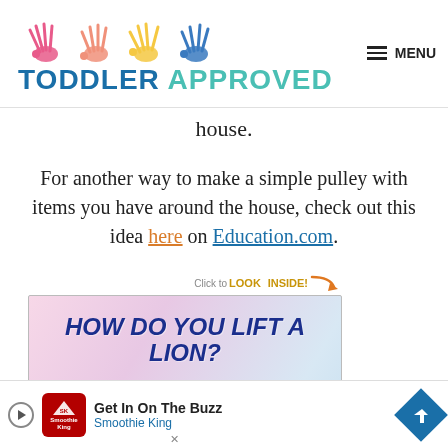TODDLER APPROVED
house.
For another way to make a simple pulley with items you have around the house, check out this idea here on Education.com.
[Figure (photo): Book cover for 'How Do You Lift a Lion?' by Robert E. Wells with a 'Click to LOOK INSIDE!' badge and arrow]
Get In On The Buzz Smoothie King